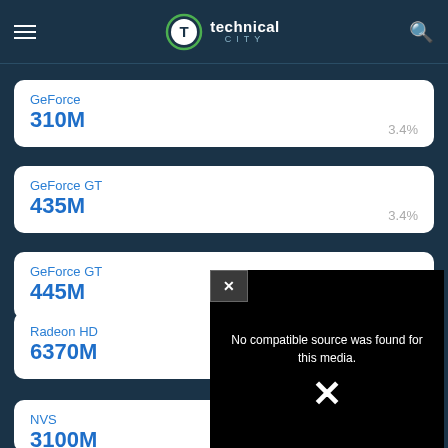technical city
GeForce 310M — 3.4%
GeForce GT 435M — 3.4%
GeForce GT 445M
Radeon HD 6370M
[Figure (screenshot): Video player overlay showing 'No compatible source was found for this media.' with a large X icon on black background, and a close button.]
NVS 3100M